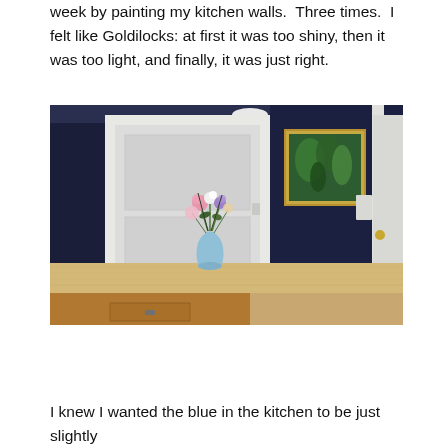week by painting my kitchen walls.  Three times.  I felt like Goldilocks: at first it was too shiny, then it was too light, and finally, it was just right.
[Figure (photo): Interior photo of a kitchen with dark navy blue walls. A white door frame is visible on the left, and a framed botanical painting hangs on the right wall. A wooden kitchen island or counter is in the foreground with a light blue vase holding a colorful bouquet of flowers. A door on the far right leads to a bright exterior. A light switch plate is visible on the right wall.]
I knew I wanted the blue in the kitchen to be just slightly